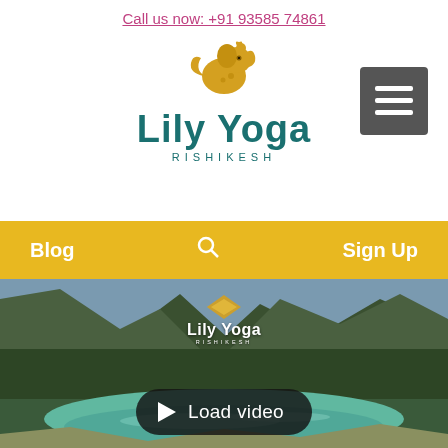Call us now: +91 93585 74861
[Figure (logo): Lily Yoga Rishikesh logo with golden elephant/paisley icon and teal text]
[Figure (screenshot): Navigation bar with yellow background showing Blog, search icon, and Sign Up options, followed by scenic river/mountain video thumbnail with Lily Yoga Rishikesh overlay logo and Load video button]